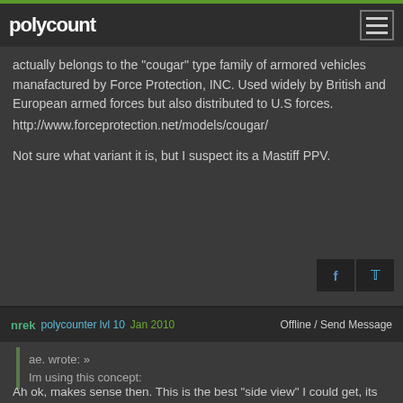polycount
actually belongs to the "cougar" type family of armored vehicles manafactured by Force Protection, INC. Used widely by British and European armed forces but also distributed to U.S forces.
http://www.forceprotection.net/models/cougar/
Not sure what variant it is, but I suspect its a Mastiff PPV.
nrek  polycounter lvl 10  Jan 2010  Offline / Send Message
ae. wrote: »
Im using this concept:
Ah ok, makes sense then. This is the best "side view" I could get, its pretty blurry and not perfectly from the side.